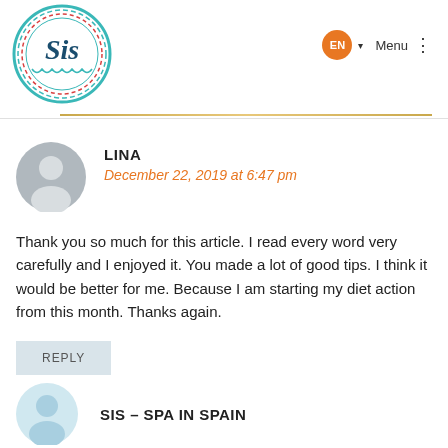[Figure (logo): Sis brand logo — circular badge with teal decorative border, red dashed inner ring, and 'Sis' in dark teal script lettering]
EN ▾  Menu ⋮
LINA
December 22, 2019 at 6:47 pm
Thank you so much for this article. I read every word very carefully and I enjoyed it. You made a lot of good tips. I think it would be better for me. Because I am starting my diet action from this month. Thanks again.
REPLY
SIS – SPA IN SPAIN